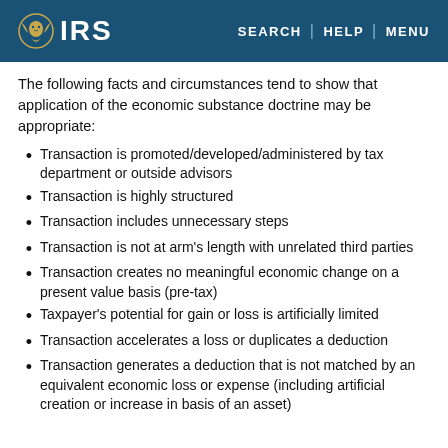IRS | SEARCH | HELP | MENU
The following facts and circumstances tend to show that application of the economic substance doctrine may be appropriate:
Transaction is promoted/developed/administered by tax department or outside advisors
Transaction is highly structured
Transaction includes unnecessary steps
Transaction is not at arm's length with unrelated third parties
Transaction creates no meaningful economic change on a present value basis (pre-tax)
Taxpayer's potential for gain or loss is artificially limited
Transaction accelerates a loss or duplicates a deduction
Transaction generates a deduction that is not matched by an equivalent economic loss or expense (including artificial creation or increase in basis of an asset)